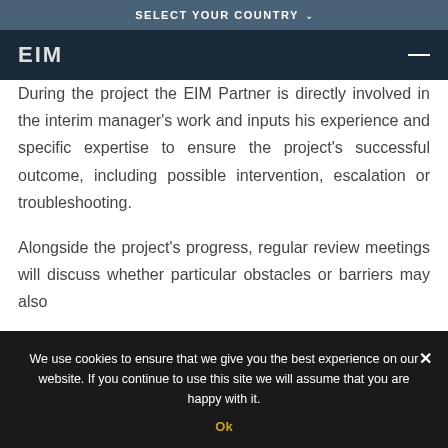SELECT YOUR COUNTRY ∨
[Figure (logo): EIM logo on dark navy background with hamburger menu icon]
During the project the EIM Partner is directly involved in the interim manager's work and inputs his experience and specific expertise to ensure the project's successful outcome, including possible intervention, escalation or troubleshooting.

Alongside the project's progress, regular review meetings will discuss whether particular obstacles or barriers may also
We use cookies to ensure that we give you the best experience on our website. If you continue to use this site we will assume that you are happy with it.
Ok